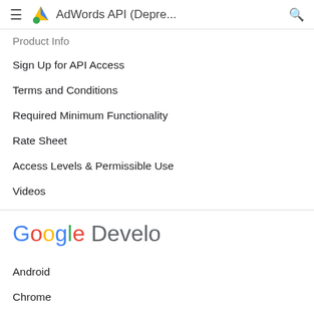AdWords API (Depre...
Product Info
Sign Up for API Access
Terms and Conditions
Required Minimum Functionality
Rate Sheet
Access Levels & Permissible Use
Videos
[Figure (logo): Google Developers logo]
Android
Chrome
Firebase